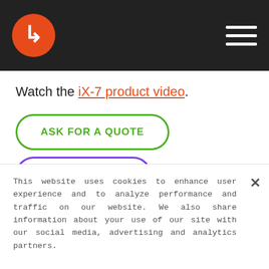iX-7 product page header with logo and navigation
Watch the iX-7 product video.
ASK FOR A QUOTE
This website uses cookies to enhance user experience and to analyze performance and traffic on our website. We also share information about your use of our site with our social media, advertising and analytics partners.
Do Not Sell My Personal Information
Hi there! Is there anything I can help you with?